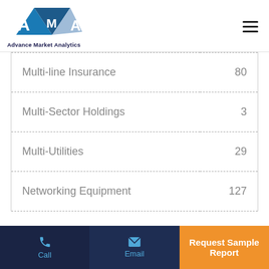Advance Market Analytics
| Category | Value |
| --- | --- |
| Multi-line Insurance | 80 |
| Multi-Sector Holdings | 3 |
| Multi-Utilities | 29 |
| Networking Equipment | 127 |
Call | Email | Request Sample Report